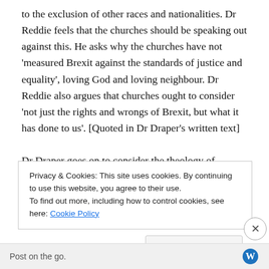to the exclusion of other races and nationalities. Dr Reddie feels that the churches should be speaking out against this. He asks why the churches have not 'measured Brexit against the standards of justice and equality', loving God and loving neighbour. Dr Reddie also argues that churches ought to consider 'not just the rights and wrongs of Brexit, but what it has done to us'. [Quoted in Dr Draper's written text]

Dr Draper goes on to consider the theology of incarnation, of being the body of Christ, Christ incorporated in His
Privacy & Cookies: This site uses cookies. By continuing to use this website, you agree to their use.
To find out more, including how to control cookies, see here: Cookie Policy
Close and accept
Post on the go.